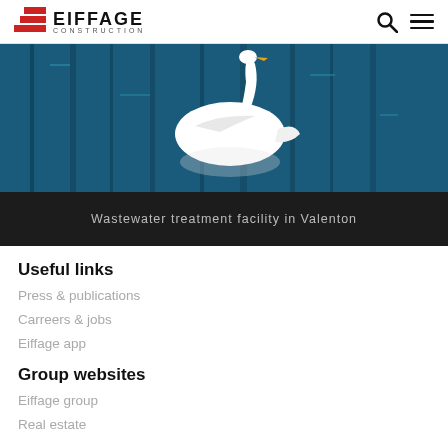EIFFAGE CONSTRUCTION
[Figure (photo): A white swan swimming on blue water, part of a wastewater treatment facility promotional image in Valenton]
Wastewater treatment facility in Valenton
Useful links
Press & publications
Carreers & jobs
Eiffage app
Group websites
Eiffage group
Real estate